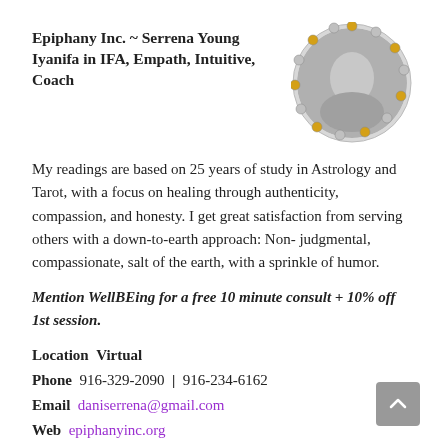Epiphany Inc. ~ Serrena Young
Iyanifa in IFA, Empath, Intuitive, Coach
[Figure (photo): Circular profile photo of a person with decorative gold and silver jeweled border, black and white photo interior]
My readings are based on 25 years of study in Astrology and Tarot, with a focus on healing through authenticity, compassion, and honesty. I get great satisfaction from serving others with a down-to-earth approach: Non- judgmental, compassionate, salt of the earth, with a sprinkle of humor.
Mention WellBEing for a free 10 minute consult + 10% off 1st session.
Location  Virtual
Phone  916-329-2090  |  916-234-6162
Email  daniserrena@gmail.com
Web  epiphanyinc.org